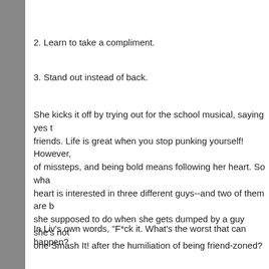2. Learn to take a compliment.
3. Stand out instead of back.
She kicks it off by trying out for the school musical, saying yes to new friends. Life is great when you stop punking yourself! However, life's full of missteps, and being bold means following her heart. So what when her heart is interested in three different guys--and two of them are brothers? Is she supposed to do when she gets dumped by a guy she's not dating? Try one Smash It! after the humiliation of being friend-zoned?
In Liv's own words, "F*ck it. What's the worst that can happen?"
A lot, apparently.
#SMASHIT
Places to Purchase:
Indiebound
Barnes & Noble